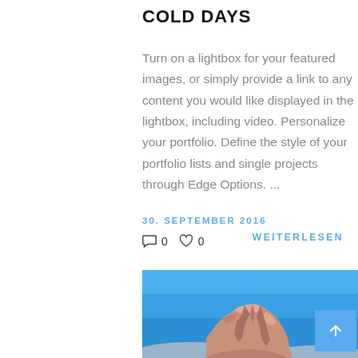COLD DAYS
Turn on a lightbox for your featured images, or simply provide a link to any content you would like displayed in the lightbox, including video. Personalize your portfolio. Define the style of your portfolio lists and single projects through Edge Options. ...
30. SEPTEMBER 2016
WEITERLESEN
0  0
[Figure (photo): A large rocky formation under a bright blue sky]